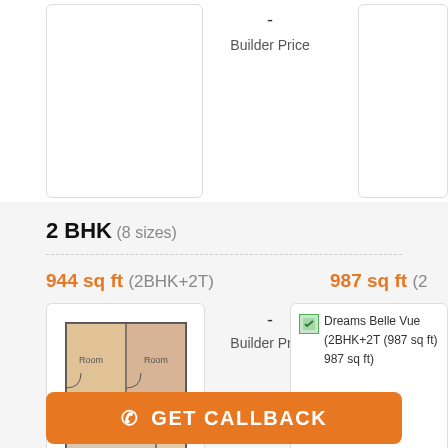- Builder Price
2 BHK (8 sizes)
944 sq ft (2BHK+2T)
987 sq ft (2
[Figure (floorplan): 2BHK floor plan illustration showing rooms in beige/brown tones]
- Builder Price
Dreams Belle Vue (2BHK+2T (987 sq ft) 987 sq ft)
GET CALLBACK